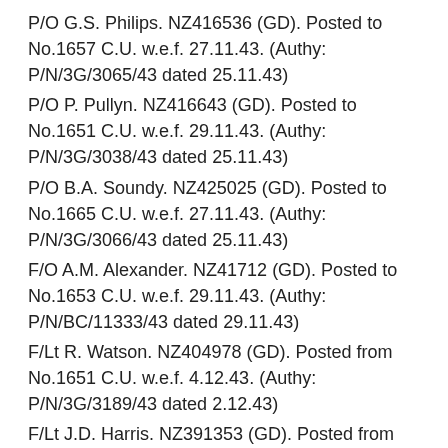P/O G.S. Philips. NZ416536 (GD). Posted to No.1657 C.U. w.e.f. 27.11.43. (Authy: P/N/3G/3065/43 dated 25.11.43)
P/O P. Pullyn. NZ416643 (GD). Posted to No.1651 C.U. w.e.f. 29.11.43. (Authy: P/N/3G/3038/43 dated 25.11.43)
P/O B.A. Soundy. NZ425025 (GD). Posted to No.1665 C.U. w.e.f. 27.11.43. (Authy: P/N/3G/3066/43 dated 25.11.43)
F/O A.M. Alexander. NZ41712 (GD). Posted to No.1653 C.U. w.e.f. 29.11.43. (Authy: P/N/BC/11333/43 dated 29.11.43)
F/Lt R. Watson. NZ404978 (GD). Posted from No.1651 C.U. w.e.f. 4.12.43. (Authy: P/N/3G/3189/43 dated 2.12.43)
F/Lt J.D. Harris. NZ391353 (GD). Posted from Uxbridge w.e.f. 19.11.43. (Authy: P/N/DGP/TTC/18049 dated